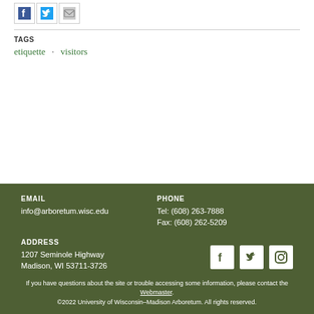[Figure (other): Social sharing icons: Facebook, Twitter, Email]
TAGS
etiquette · visitors
EMAIL
info@arboretum.wisc.edu
PHONE
Tel: (608) 263-7888
Fax: (608) 262-5209
ADDRESS
1207 Seminole Highway
Madison, WI 53711-3726
[Figure (other): Social media icons: Facebook, Twitter, Instagram]
If you have questions about the site or trouble accessing some information, please contact the Webmaster.
©2022 University of Wisconsin–Madison Arboretum. All rights reserved.